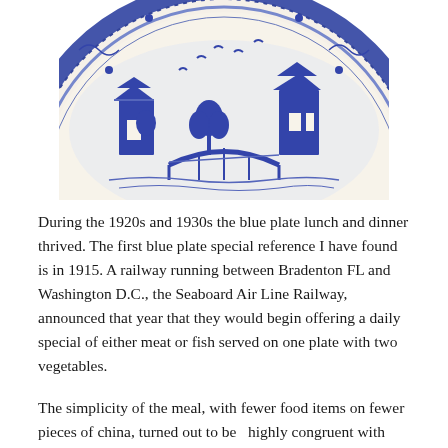[Figure (photo): A decorative blue and white ceramic plate (Blue Willow pattern) shown from above, partially cropped — only the upper half of the plate is visible. The plate features an intricate blue transfer-print design depicting a Chinese-inspired landscape with buildings, trees, a bridge, and birds on a white background.]
During the 1920s and 1930s the blue plate lunch and dinner thrived. The first blue plate special reference I have found is in 1915. A railway running between Bradenton FL and Washington D.C., the Seaboard Air Line Railway, announced that year that they would begin offering a daily special of either meat or fish served on one plate with two vegetables.
The simplicity of the meal, with fewer food items on fewer pieces of china, turned out to be  highly congruent with suggested government cutbacks that arrived with World